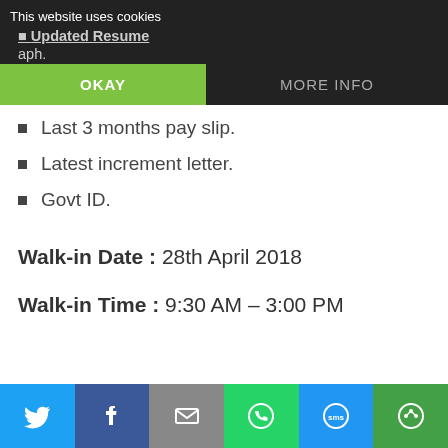This website uses cookies
Updated Resume
aph.
OKAY
MORE INFO
Last 3 months pay slip.
Latest increment letter.
Govt ID.
Walk-in Date : 28th April 2018
Walk-in Time : 9:30 AM – 3:00 PM
[Figure (screenshot): Social share bar with Twitter, Facebook, Email, WhatsApp, SMS, and other share buttons]